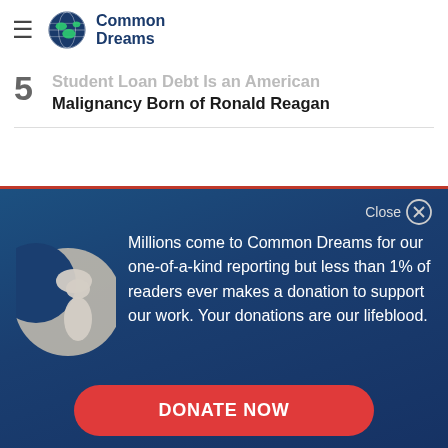Common Dreams
Student Loan Debt Is an American Malignancy Born of Ronald Reagan
Millions come to Common Dreams for our one-of-a-kind reporting but less than 1% of readers ever makes a donation to support our work. Your donations are our lifeblood.
DONATE NOW